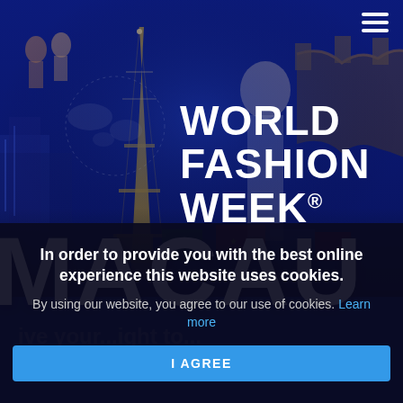[Figure (photo): Hero banner image for World Fashion Week Macau website. Dark blue background with collage of international landmarks (Eiffel Tower, Great Wall of China, Las Vegas-style buildings, fashion models, colorful flags). White text overlay reads 'WORLD FASHION WEEK®' and 'MACAU' in large bold letters. Hamburger menu icon in top-right corner.]
WORLD FASHION WEEK® MACAU
In order to provide you with the best online experience this website uses cookies.
By using our website, you agree to our use of cookies. Learn more
I AGREE